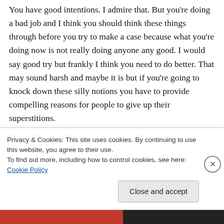You have good intentions. I admire that. But you're doing a bad job and I think you should think these things through before you try to make a case because what you're doing now is not really doing anyone any good. I would say good try but frankly I think you need to do better. That may sound harsh and maybe it is but if you're going to knock down these silly notions you have to provide compelling reasons for people to give up their superstitions.
Privacy & Cookies: This site uses cookies. By continuing to use this website, you agree to their use.
To find out more, including how to control cookies, see here: Cookie Policy